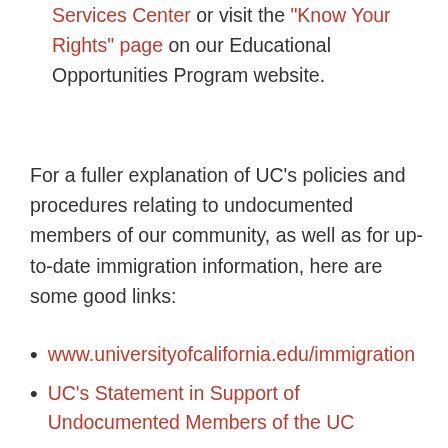Services Center or visit the "Know Your Rights" page on our Educational Opportunities Program website.
For a fuller explanation of UC's policies and procedures relating to undocumented members of our community, as well as for up-to-date immigration information, here are some good links:
www.universityofcalifornia.edu/immigration
UC's Statement in Support of Undocumented Members of the UC